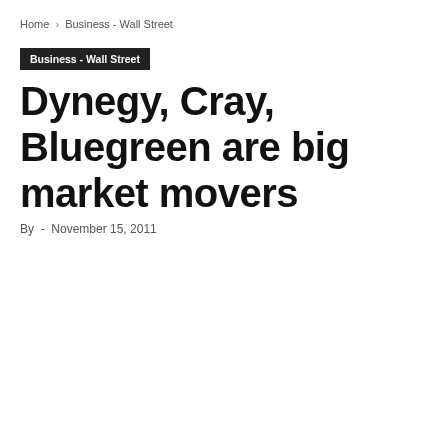Home › Business - Wall Street
Business - Wall Street
Dynegy, Cray, Bluegreen are big market movers
By  -  November 15, 2011